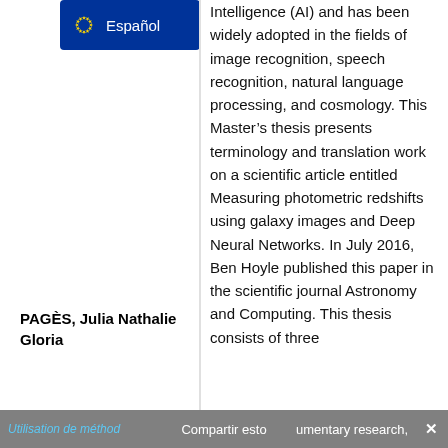[Figure (logo): EU flag button with stars and 'Español' text on blue background]
Intelligence (AI) and has been widely adopted in the fields of image recognition, speech recognition, natural language processing, and cosmology. This Master's thesis presents terminology and translation work on a scientific article entitled Measuring photometric redshifts using galaxy images and Deep Neural Networks. In July 2016, Ben Hoyle published this paper in the scientific journal Astronomy and Computing. This thesis consists of three
PAGÈS, Julia Nathalie Gloria
Utilisation de méthod… Compartir esto… umentary research, ×